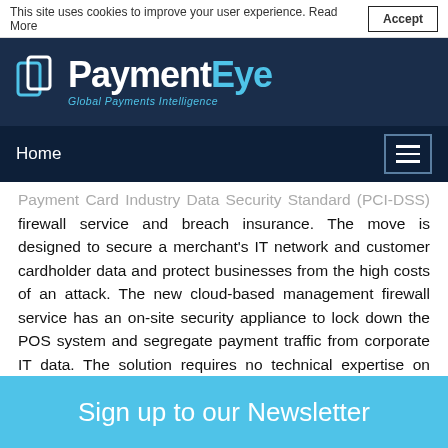This site uses cookies to improve your user experience. Read More  Accept
[Figure (logo): PaymentEye logo with icon and tagline 'Global Payments Intelligence' on dark navy background]
Home
Payment Card Industry Data Security Standard (PCI-DSS) firewall service and breach insurance. The move is designed to secure a merchant's IT network and customer cardholder data and protect businesses from the high costs of an attack. The new cloud-based management firewall service has an on-site security appliance to lock down the POS system and segregate payment traffic from corporate IT data. The solution requires no technical expertise on behalf of the user to install or manage.
Sign up to our Newsletter